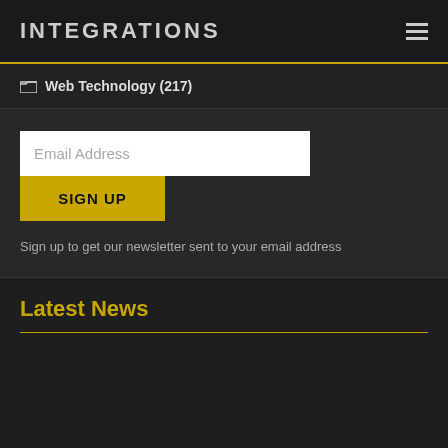INTEGRATIONS
Web Technology (217)
Email Address
SIGN UP
Sign up to get our newsletter sent to your email address
Latest News